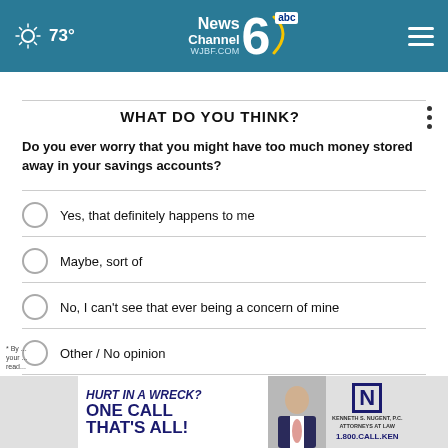73° NewsChannel 6 abc WJBF.COM
WHAT DO YOU THINK?
Do you ever worry that you might have too much money stored away in your savings accounts?
Yes, that definitely happens to me
Maybe, sort of
No, I can't see that ever being a concern of mine
Other / No opinion
NEXT *
* By ... your ... read...
[Figure (advertisement): HURT IN A WRECK? ONE CALL THAT'S ALL! Kenneth S. Nugent, P.C. Attorneys at Law 1.800.CALL.KEN advertisement with photo of man in suit]